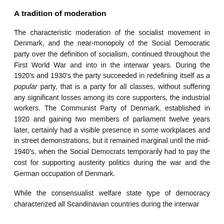A tradition of moderation
The characteristic moderation of the socialist movement in Denmark, and the near-monopoly of the Social Democratic party over the definition of socialism, continued throughout the First World War and into in the interwar years. During the 1920's and 1930's the party succeeded in redefining itself as a popular party, that is a party for all classes, without suffering any significant losses among its core supporters, the industrial workers. The Communist Party of Denmark, established in 1920 and gaining two members of parliament twelve years later, certainly had a visible presence in some workplaces and in street demonstrations, but it remained marginal until the mid-1940's, when the Social Democrats temporarily had to pay the cost for supporting austerity politics during the war and the German occupation of Denmark.
While the consensualist welfare state type of democracy characterized all Scandinavian countries during the interwar